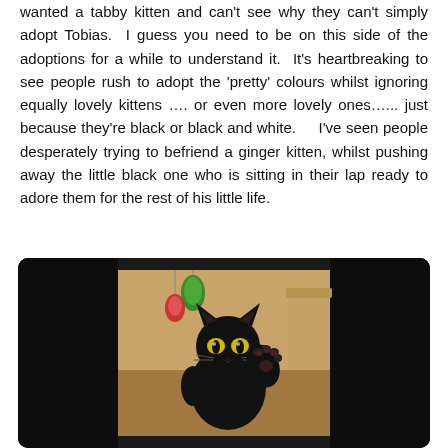wanted a tabby kitten and can't see why they can't simply adopt Tobias.  I guess you need to be on this side of the adoptions for a while to understand it.  It's heartbreaking to see people rush to adopt the 'pretty' colours whilst ignoring equally lovely kittens …. or even more lovely ones…... just because they're black or black and white.    I've seen people desperately trying to befriend a ginger kitten, whilst pushing away the little black one who is sitting in their lap ready to adore them for the rest of his little life.
[Figure (photo): A black kitten with bright eyes raising one paw, photographed against a background with colorful toy and wooden furniture. The photo is centered in a dark/black wide frame with rounded corners.]